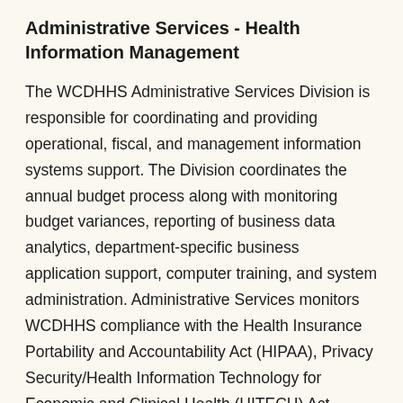Administrative Services - Health Information Management
The WCDHHS Administrative Services Division is responsible for coordinating and providing operational, fiscal, and management information systems support. The Division coordinates the annual budget process along with monitoring budget variances, reporting of business data analytics, department-specific business application support, computer training, and system administration. Administrative Services monitors WCDHHS compliance with the Health Insurance Portability and Accountability Act (HIPAA), Privacy Security/Health Information Technology for Economic and Clinical Health (HITECH) Act, corporate compliance oversite, clinical medical records management, and centralized administrative support.